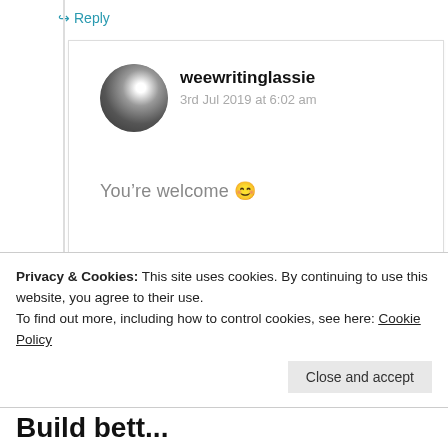↪ Reply
weewritinglassie
3rd Jul 2019 at 6:02 am
You’re welcome 😊
★ Like
↪ Reply
Privacy & Cookies: This site uses cookies. By continuing to use this website, you agree to their use.
To find out more, including how to control cookies, see here: Cookie Policy
Close and accept
Build bett...